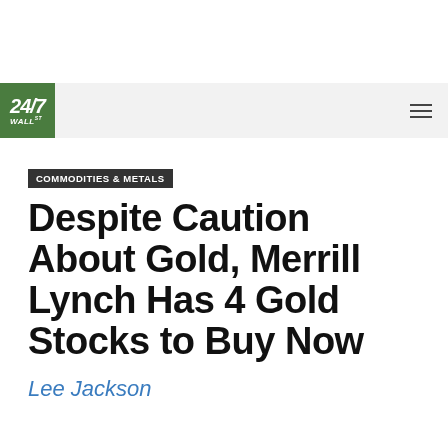24/7 Wall St.
COMMODITIES & METALS
Despite Caution About Gold, Merrill Lynch Has 4 Gold Stocks to Buy Now
Lee Jackson